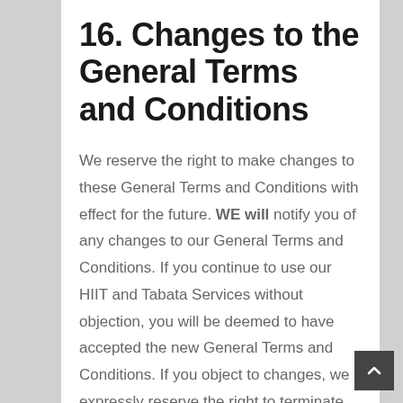16. Changes to the General Terms and Conditions
We reserve the right to make changes to these General Terms and Conditions with effect for the future. WE will notify you of any changes to our General Terms and Conditions. If you continue to use our HIIT and Tabata Services without objection, you will be deemed to have accepted the new General Terms and Conditions. If you object to changes, we expressly reserve the right to terminate your subscription by regular notice, during its appropriate period.